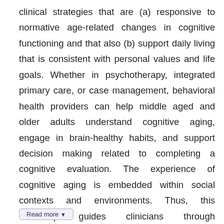clinical strategies that are (a) responsive to normative age-related changes in cognitive functioning and that also (b) support daily living that is consistent with personal values and life goals. Whether in psychotherapy, integrated primary care, or case management, behavioral health providers can help middle aged and older adults understand cognitive aging, engage in brain-healthy habits, and support decision making related to completing a cognitive evaluation. The experience of cognitive aging is embedded within social contexts and environments. Thus, this workshop guides clinicians through recommended strategies that are responsive to the needs of culturally diverse aging clients, including within the context of telehealth.